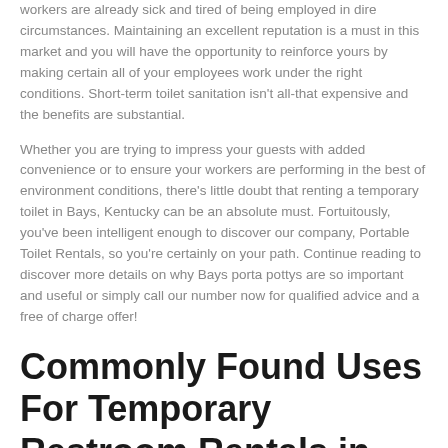workers are already sick and tired of being employed in dire circumstances. Maintaining an excellent reputation is a must in this market and you will have the opportunity to reinforce yours by making certain all of your employees work under the right conditions. Short-term toilet sanitation isn't all-that expensive and the benefits are substantial.
Whether you are trying to impress your guests with added convenience or to ensure your workers are performing in the best of environment conditions, there's little doubt that renting a temporary toilet in Bays, Kentucky can be an absolute must. Fortuitously, you've been intelligent enough to discover our company, Portable Toilet Rentals, so you're certainly on your path. Continue reading to discover more details on why Bays porta pottys are so important and useful or simply call our number now for qualified advice and a free of charge offer!
Commonly Found Uses For Temporary Restroom Rentals in Bays, Kentucky